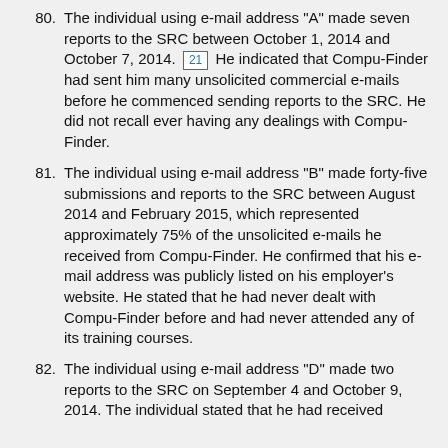80. The individual using e-mail address "A" made seven reports to the SRC between October 1, 2014 and October 7, 2014. [21] He indicated that Compu-Finder had sent him many unsolicited commercial e-mails before he commenced sending reports to the SRC. He did not recall ever having any dealings with Compu-Finder.
81. The individual using e-mail address "B" made forty-five submissions and reports to the SRC between August 2014 and February 2015, which represented approximately 75% of the unsolicited e-mails he received from Compu-Finder. He confirmed that his e-mail address was publicly listed on his employer's website. He stated that he had never dealt with Compu-Finder before and had never attended any of its training courses.
82. The individual using e-mail address "D" made two reports to the SRC on September 4 and October 9, 2014. The individual stated that he had received